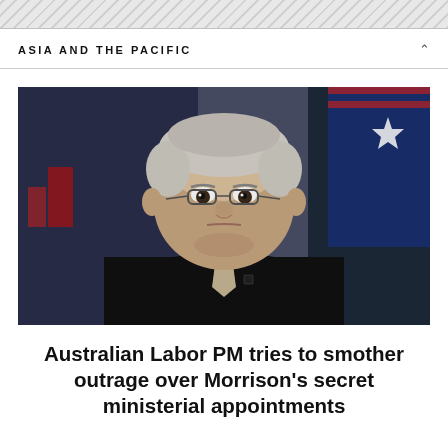ASIA AND THE PACIFIC
[Figure (photo): Close-up photo of a middle-aged man with short grey hair wearing glasses and a dark suit with a light tie, looking serious. An Australian flag is visible in the background along with uniformed people.]
Australian Labor PM tries to smother outrage over Morrison’s secret ministerial appointments